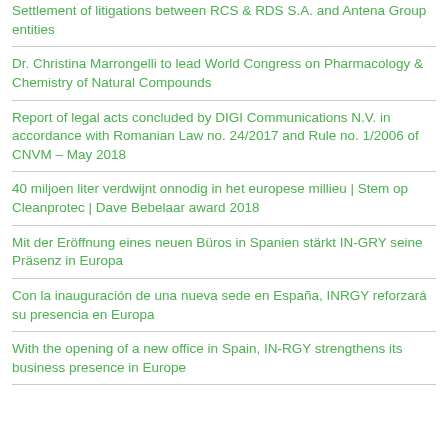Settlement of litigations between RCS & RDS S.A. and Antena Group entities
Dr. Christina Marrongelli to lead World Congress on Pharmacology & Chemistry of Natural Compounds
Report of legal acts concluded by DIGI Communications N.V. in accordance with Romanian Law no. 24/2017 and Rule no. 1/2006 of CNVM – May 2018
40 miljoen liter verdwijnt onnodig in het europese millieu | Stem op Cleanprotec | Dave Bebelaar award 2018
Mit der Eröffnung eines neuen Büros in Spanien stärkt IN-GRY seine Präsenz in Europa
Con la inauguración de una nueva sede en España, INRGY reforzará su presencia en Europa
With the opening of a new office in Spain, IN-RGY strengthens its business presence in Europe